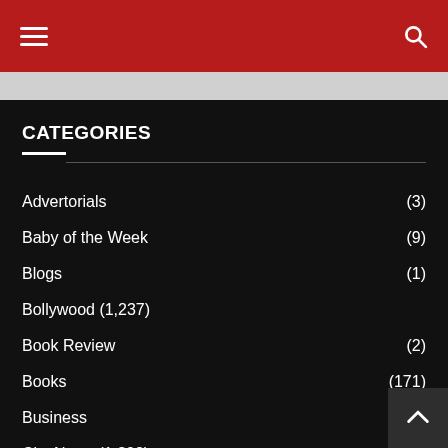Navigation header with hamburger menu and search icon
CATEGORIES
Advertorials (3)
Baby of the Week (9)
Blogs (1)
Bollywood (1,237)
Book Review (2)
Books (171)
Business (159)
City News (1,302)
Features (206)